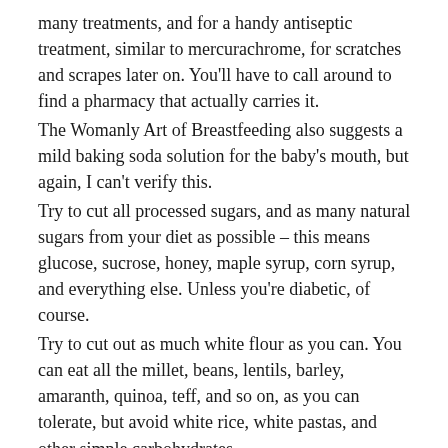many treatments, and for a handy antiseptic treatment, similar to mercurachrome, for scratches and scrapes later on. You'll have to call around to find a pharmacy that actually carries it.
The Womanly Art of Breastfeeding also suggests a mild baking soda solution for the baby's mouth, but again, I can't verify this.
Try to cut all processed sugars, and as many natural sugars from your diet as possible – this means glucose, sucrose, honey, maple syrup, corn syrup, and everything else. Unless you're diabetic, of course.
Try to cut out as much white flour as you can. You can eat all the millet, beans, lentils, barley, amaranth, quinoa, teff, and so on, as you can tolerate, but avoid white rice, white pastas, and other simple carbohydrates.
Avoid foods with molds or yeasts in them, such as cheese, brewer's yeast, beer, yeast-raised bread, wine, etc.